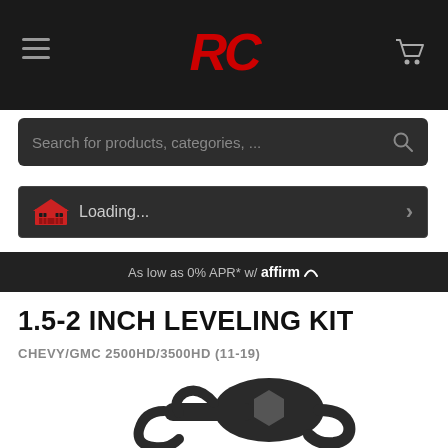[Figure (logo): RC (Rough Country) logo in red italic bold text centered in dark navigation header]
Search for products, categories, ...
Loading...
As low as 0% APR* w/ affirm
1.5-2 INCH LEVELING KIT
CHEVY/GMC 2500HD/3500HD (11-19)
[Figure (photo): Close-up photo of a black metal leveling kit torsion key tool on white background]